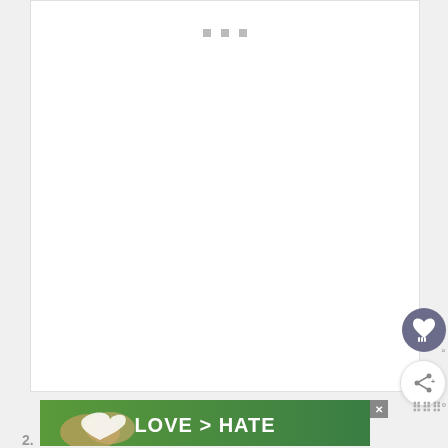[Figure (screenshot): Loading state of a web page with three small grey square dots centered at the top, white background area with no content loaded yet.]
[Figure (screenshot): Circular dark purple/grey button with a heart icon and a small lightbulb/brain icon below it (favorite/save button).]
[Figure (screenshot): Circular white button with a share/network icon and a plus sign (share button).]
[Figure (photo): Advertisement banner showing hands forming a heart shape against a green background with text 'LOVE > HATE' in white bold letters. An X close button is visible in the top right of the ad.]
2.